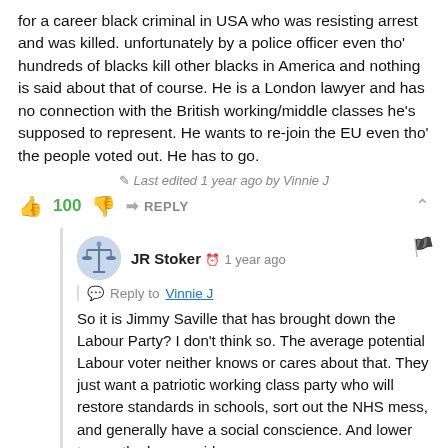for a career black criminal in USA who was resisting arrest and was killed. unfortunately by a police officer even tho' hundreds of blacks kill other blacks in America and nothing is said about that of course. He is a London lawyer and has no connection with the British working/middle classes he's supposed to represent. He wants to re-join the EU even tho' the people voted out. He has to go.
Last edited 1 year ago by Vinnie J
100  👍  👎  REPLY  ^
JR Stoker  1 year ago
Reply to Vinnie J
So it is Jimmy Saville that has brought down the Labour Party? I don't think so. The average potential Labour voter neither knows or cares about that. They just want a patriotic working class party who will restore standards in schools, sort out the NHS mess, and generally have a social conscience. And lower tax on the lower paid.
45  👍  👎  REPLY  ^